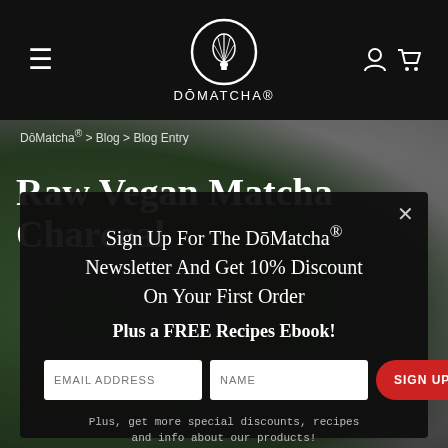DōMatcha® navigation header with logo, hamburger menu, user icon and cart icon
DōMatcha® > Blog > Blog Entry
Raw Vegan Matcha Charcoal
Sign Up For The DōMatcha® Newsletter And Get 10% Discount On Your First Order Plus a FREE Recipes Ebook!
EMAIL ADDRESS   NAME   SIGN UP
Plus, get more special discounts, recipes and info about our products!